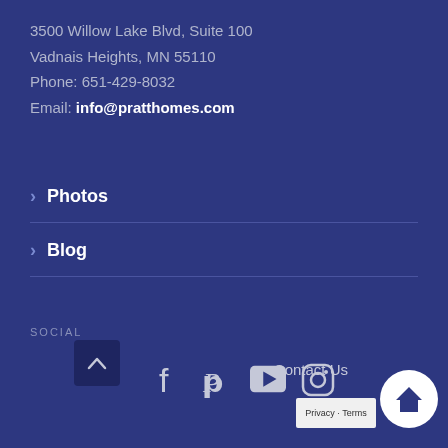3500 Willow Lake Blvd, Suite 100
Vadnais Heights, MN 55110
Phone: 651-429-8032
Email: info@pratthomes.com
Photos
Blog
SOCIAL
[Figure (infographic): Social media icons: Facebook, Pinterest, YouTube, Instagram]
Contact Us